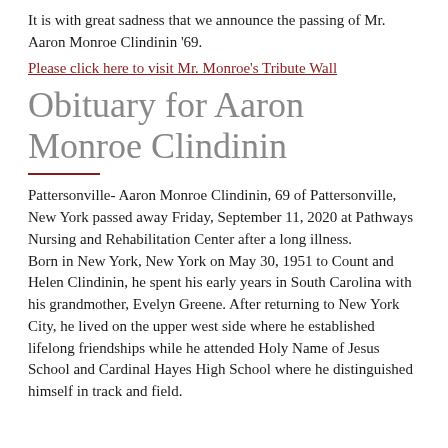It is with great sadness that we announce the passing of Mr. Aaron Monroe Clindinin '69.
Please click here to visit Mr. Monroe's Tribute Wall
Obituary for Aaron Monroe Clindinin
Pattersonville- Aaron Monroe Clindinin, 69 of Pattersonville, New York passed away Friday, September 11, 2020 at Pathways Nursing and Rehabilitation Center after a long illness. Born in New York, New York on May 30, 1951 to Count and Helen Clindinin, he spent his early years in South Carolina with his grandmother, Evelyn Greene. After returning to New York City, he lived on the upper west side where he established lifelong friendships while he attended Holy Name of Jesus School and Cardinal Hayes High School where he distinguished himself in track and field.